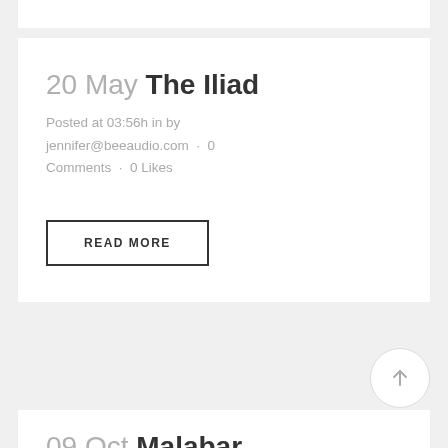20 May The Iliad
Posted at 03:56h in by jennifer@beeaudio.com · 0 Comments · 0 Likes
READ MORE
09 Oct Malabar